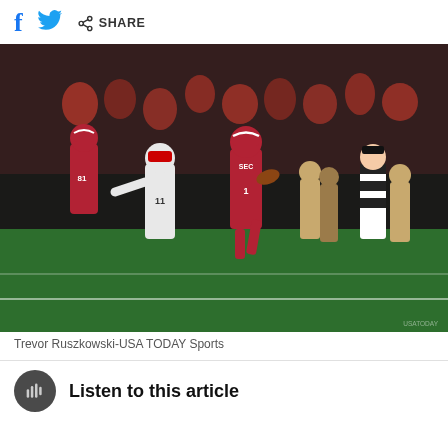f  [Twitter bird]  [share icon] SHARE
[Figure (photo): Football game action photo: Alabama player #1 in red uniform runs with the ball near the sideline, pursued by Georgia player #11 in white uniform. A referee in black-and-white stripes runs alongside. Alabama player #81 visible in background. Players and crowd visible on sideline. 2022 College Football Playoff National Championship game.]
Trevor Ruszkowski-USA TODAY Sports
Listen to this article